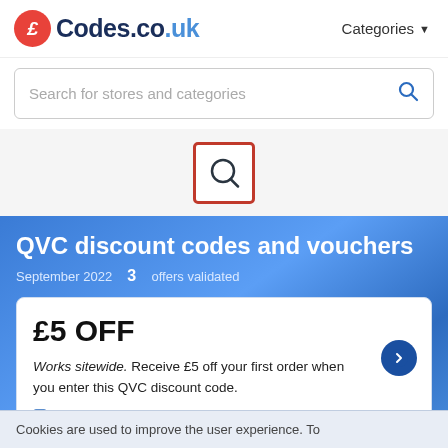£Codes.co.uk  Categories
Search for stores and categories
[Figure (logo): QVC search icon in a red-bordered square box]
QVC discount codes and vouchers
September 2022  3  offers validated
£5 OFF
Works sitewide. Receive £5 off your first order when you enter this QVC discount code.
VALIDATED · VOUCHER CODE
Cookies are used to improve the user experience. To